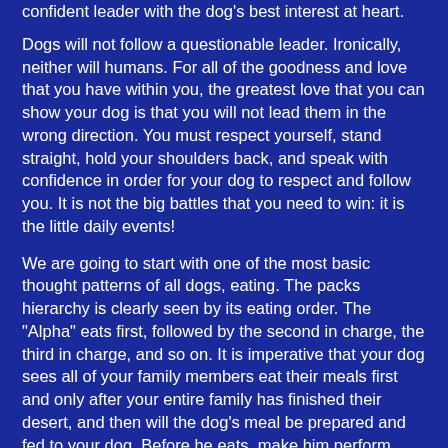confident leader with the dog's best interest at heart.
Dogs will not follow a questionable leader. Ironically, neither will humans. For all of the goodness and love that you have within you, the greatest love that you can show your dog is that you will not lead them in the wrong direction. You must respect yourself, stand straight, hold your shoulders back, and speak with confidence in order for your dog to respect and follow you. It is not the big battles that you need to win: it is the little daily events!
We are going to start with one of the most basic thought patterns of all dogs, eating. The packs hierarchy is clearly seen by its eating order. The "Alpha" eats first, followed by the second in charge, the third in charge, and so on. It is imperative that your dog sees all of your family members eat their meals first and only after your entire family has finished their desert, and then will the dog's meal be prepared and fed to your dog. Before he eats, make him perform some command like sit or lay down. However, do not give him any command that encourages aggression such as jumping up or barking.
During this transformation pack leadership period, it is very important for all members of the family to pet the dog for only a couple of seconds and then to walk away (without looking back).